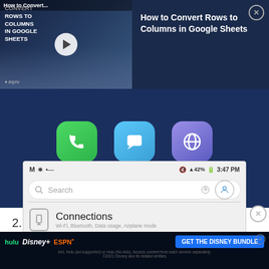[Figure (screenshot): Video overlay banner showing 'How to Convert Rows to Columns in Google Sheets' tutorial with play button, Alphr logo, and close button]
[Figure (screenshot): Mobile app icons row on dark blue background showing Phone (green), Messages (blue), and Internet (purple) app icons]
2. Select “Display.”
[Figure (screenshot): Android settings screen partial showing status bar with 42% battery and 3:47 PM, search bar, and Connections menu item with Wi-Fi, Bluetooth, Data usage, Airplane mode subtitle]
[Figure (screenshot): Disney Bundle advertisement at bottom with Hulu, Disney+, ESPN+ logos and GET THE DISNEY BUNDLE button]